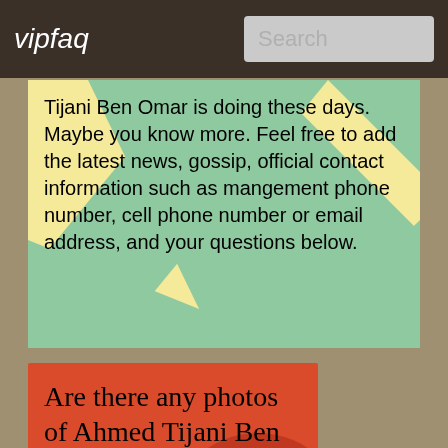vipfaq  Search
Tijani Ben Omar is doing these days. Maybe you know more. Feel free to add the latest news, gossip, official contact information such as mangement phone number, cell phone number or email address, and your questions below.
[Figure (illustration): Diagonal green and cream/yellow stripes pattern background]
Are there any photos of Ahmed Tijani Ben Omar's hairstyle or